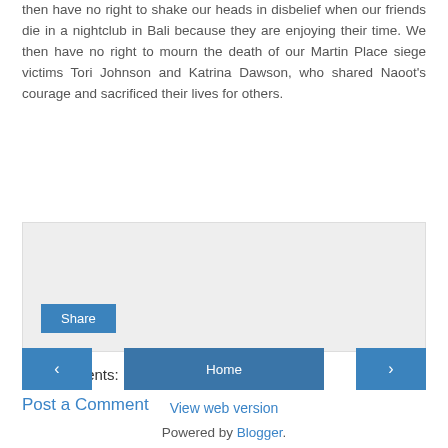then have no right to shake our heads in disbelief when our friends die in a nightclub in Bali because they are enjoying their time. We then have no right to mourn the death of our Martin Place siege victims Tori Johnson and Katrina Dawson, who shared Naoot's courage and sacrificed their lives for others.
[Figure (screenshot): Light grey share widget box with a blue Share button in the bottom left]
No comments:
Post a Comment
[Figure (screenshot): Navigation row with three buttons: left arrow (previous), Home (centre), right arrow (next)]
View web version
Powered by Blogger.